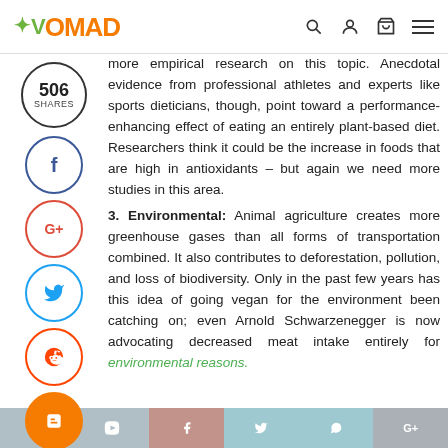VOMAD
more empirical research on this topic. Anecdotal evidence from professional athletes and experts like sports dieticians, though, point toward a performance-enhancing effect of eating an entirely plant-based diet. Researchers think it could be the increase in foods that are high in antioxidants – but again we need more studies in this area.
3. Environmental: Animal agriculture creates more greenhouse gases than all forms of transportation combined. It also contributes to deforestation, pollution, and loss of biodiversity. Only in the past few years has this idea of going vegan for the environment been catching on; even Arnold Schwarzenegger is now advocating decreased meat intake entirely for environmental reasons.
506 SHARES | Facebook | Google+ | Twitter | Reddit | Blogger | Social share bar